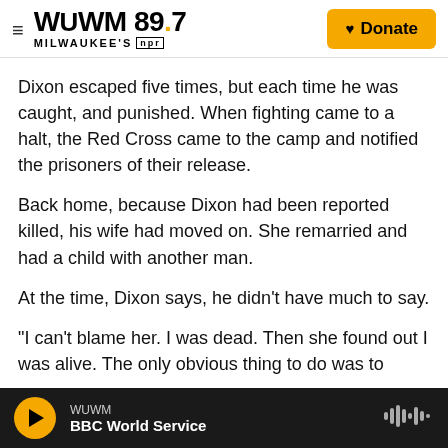WUWM 89.7 MILWAUKEE'S NPR | Donate
Dixon escaped five times, but each time he was caught, and punished. When fighting came to a halt, the Red Cross came to the camp and notified the prisoners of their release.
Back home, because Dixon had been reported killed, his wife had moved on. She remarried and had a child with another man.
At the time, Dixon says, he didn't have much to say.
"I can't blame her. I was dead. Then she found out I was alive. The only obvious thing to do was to
WUWM | BBC World Service